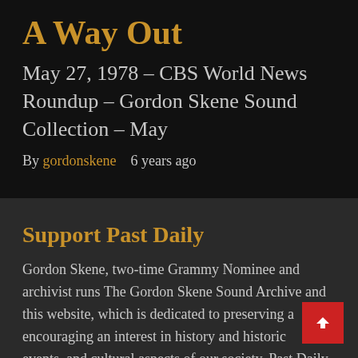A Way Out
May 27, 1978 – CBS World News Roundup – Gordon Skene Sound Collection – May
By gordonskene   6 years ago
Support Past Daily
Gordon Skene, two-time Grammy Nominee and archivist runs The Gordon Skene Sound Archive and this website, which is dedicated to preserving and encouraging an interest in history and historic news events, and cultural aspects of our society. Past Daily